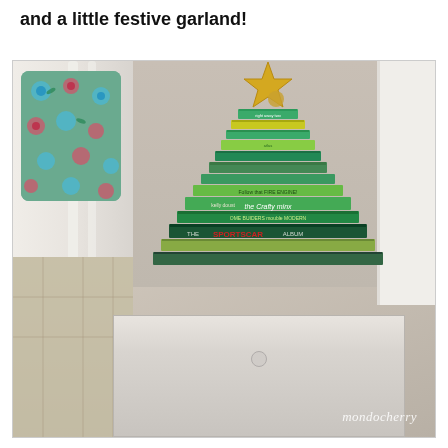and a little festive garland!
[Figure (photo): A stack of green-colored books arranged in a Christmas tree shape, topped with a gold star ornament, sitting on a white distressed nightstand. A white chair with a floral pillow is visible to the left. The photo has a 'mondocherry' watermark in the bottom right corner.]